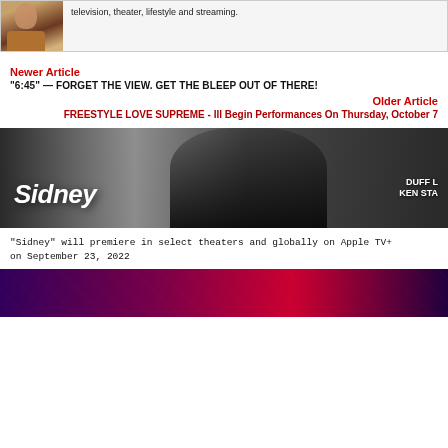[Figure (photo): Top cropped photo of a woman with curly hair wearing a tan jacket, with text beside it about television, theater, lifestyle and streaming.]
television, theater, lifestyle and streaming.
Newer Article
"6:45" — FORGET THE VIEW. GET THE BLEEP OUT OF THERE!
Older Article
FREESTYLE LOVE SUPREME - Ill Begin Performances On Thursday, October 7
[Figure (photo): Black and white photo of a man (Sidney Poitier) with the word 'Sidney' overlaid in white italic text, and 'DUFF' and 'KEN STA' visible on signage in background.]
"Sidney" will premiere in select theaters and globally on Apple TV+ on September 23, 2022
[Figure (photo): Bottom portion of a purple/magenta/red gradient image, partially visible.]